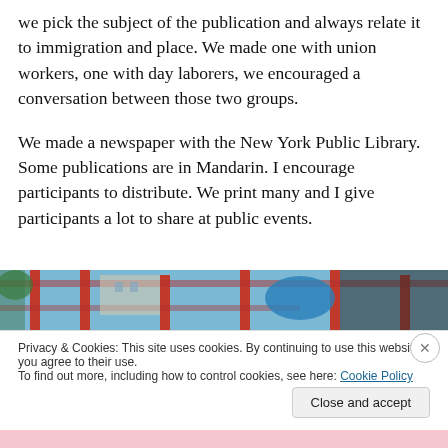we pick the subject of the publication and always relate it to immigration and place. We made one with union workers, one with day laborers, we encouraged a conversation between those two groups.
We made a newspaper with the New York Public Library. Some publications are in Mandarin. I encourage participants to distribute. We print many and I give participants a lot to share at public events.
[Figure (photo): Partial view of a colorful outdoor playground structure with red poles and blue sky, cropped horizontally.]
Privacy & Cookies: This site uses cookies. By continuing to use this website, you agree to their use.
To find out more, including how to control cookies, see here: Cookie Policy
Close and accept